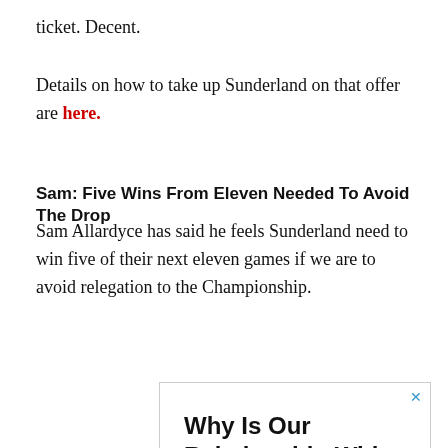ticket. Decent.
Details on how to take up Sunderland on that offer are here.
Sam: Five Wins From Eleven Needed To Avoid The Drop
Sam Allardyce has said he feels Sunderland need to win five of their next eleven games if we are to avoid relegation to the Championship.
[Figure (other): Advertisement banner: 'Why Is Our Relationship With Sleep So Complicated?' with a divider line and 'LISTEN TO THE PODCAST >' text below]